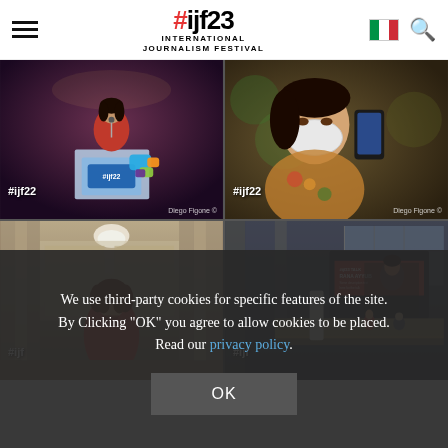#ijf23 INTERNATIONAL JOURNALISM FESTIVAL
[Figure (photo): Woman in red jacket speaking at a podium with #ijf22 branding, tagged #ijf22, photo credit Diego Figone]
[Figure (photo): Woman wearing a face mask looking at phone in an audience, tagged #ijf22, photo credit Diego Figone]
[Figure (photo): Woman in red jacket standing in a stone/museum hall]
[Figure (photo): Stage with large screen showing a speaker presentation in a large hall]
We use third-party cookies for specific features of the site. By Clicking "OK" you agree to allow cookies to be placed. Read our privacy policy.